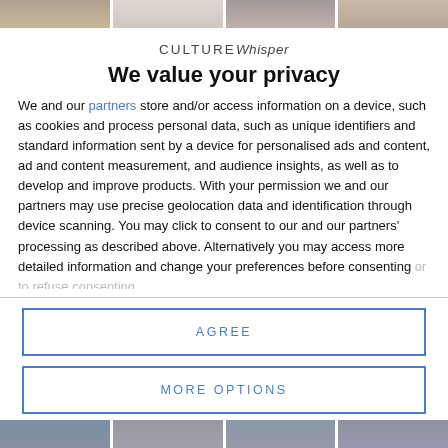[Figure (photo): Partial top strip of photos obscured behind modal overlay]
CULTURE Whisper
We value your privacy
We and our partners store and/or access information on a device, such as cookies and process personal data, such as unique identifiers and standard information sent by a device for personalised ads and content, ad and content measurement, and audience insights, as well as to develop and improve products. With your permission we and our partners may use precise geolocation data and identification through device scanning. You may click to consent to our and our partners' processing as described above. Alternatively you may access more detailed information and change your preferences before consenting or to refuse consenting.
AGREE
MORE OPTIONS
[Figure (photo): Partial bottom strip of photos obscured behind modal overlay]